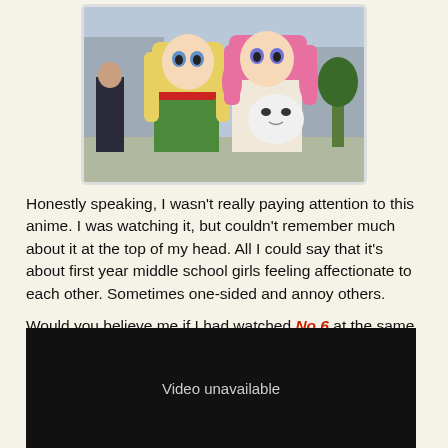[Figure (illustration): Anime screenshot showing two girls in a shopping district: a blonde girl in a green outfit with a red scarf on the left, and a pink-haired girl holding a small white creature on the right.]
Honestly speaking, I wasn't really paying attention to this anime. I was watching it, but couldn't remember much about it at the top of my head. All I could say that it's about first year middle school girls feeling affectionate to each other. Sometimes one-sided and annoy others.
Would you believe me if I had watched No.6 at the same time as this? It's a whole different type of anime to begin with.
If Yuru Yuri was like this... but I guess not.
[Figure (screenshot): Black video embed box showing 'Video unavailable' message in white/gray text on a black background.]